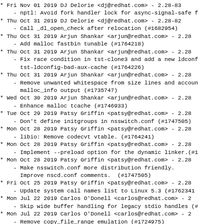* Fri Nov 01 2019 DJ Delorie <dj@redhat.com> - 2.28-83
    - nptl: Avoid fork handler lock for async-signal-safe f
* Thu Oct 31 2019 DJ Delorie <dj@redhat.com> - 2.28-82
    - Call _dl_open_check after relocation (#1682954)
* Thu Oct 31 2019 Arjun Shankar <arjun@redhat.com> - 2.28
    - Add malloc fastbin tunable (#1764218)
* Thu Oct 31 2019 Arjun Shankar <arjun@redhat.com> - 2.28
    - Fix race condition in tst-clone3 and add a new ldconf
      tst-ldconfig-bad-aux-cache (#1764226)
* Thu Oct 31 2019 Arjun Shankar <arjun@redhat.com> - 2.28
    - Remove unwanted whitespace from size lines and accoun
      malloc_info output (#1735747)
* Wed Oct 30 2019 Arjun Shankar <arjun@redhat.com> - 2.28
    - Enhance malloc tcache (#1746933)
* Tue Oct 29 2019 Patsy Griffin <patsy@redhat.com> - 2.28
    - Don't define initgroups in nsswitch.conf (#1747505)
* Mon Oct 28 2019 Patsy Griffin <patsy@redhat.com> - 2.28
    - libio: Remove codecvt vtable. (#1764241)
* Mon Oct 28 2019 Patsy Griffin <patsy@redhat.com> - 2.28
    - Implement --preload option for the dynamic linker.(#1
* Mon Oct 28 2019 Patsy Griffin <patsy@redhat.com> - 2.28
    - Make nsswitch.conf more distribution friendly.
      Improve nscd.conf comments.  (#1747505)
* Fri Oct 25 2019 Patsy Griffin <patsy@redhat.com> - 2.28
    - Update system call names list to Linux 5.3 (#1762341
* Mon Jul 22 2019 Carlos O'Donell <carlos@redhat.com> - 2
    - Skip wide buffer handling for legacy stdio handles (#
* Mon Jul 22 2019 Carlos O'Donell <carlos@redhat.com> - 2
    - Remove copy_file_range emulation (#1724975)
* Mon Jul 22 2019 Carlos O'Donell <carlos@redhat.com> - 2
    - ...